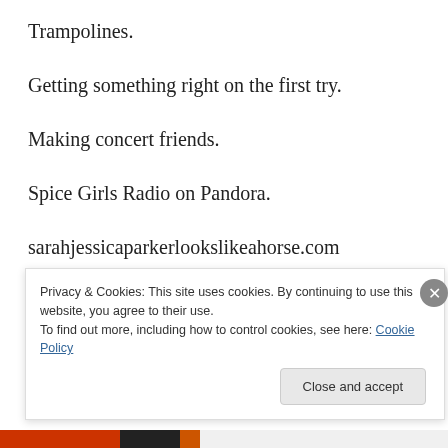Trampolines.
Getting something right on the first try.
Making concert friends.
Spice Girls Radio on Pandora.
sarahjessicaparkerlookslikeahorse.com
Buffalo Wings.
Pictures of Marilyn Monroe.
Privacy & Cookies: This site uses cookies. By continuing to use this website, you agree to their use.
To find out more, including how to control cookies, see here: Cookie Policy
Close and accept